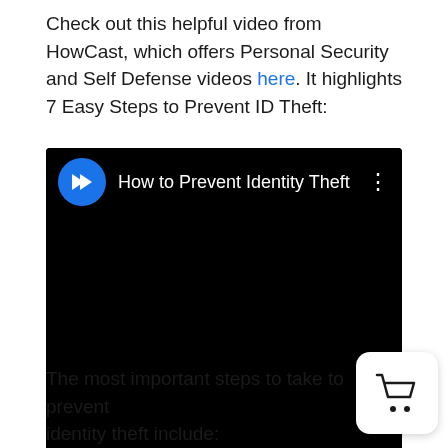Check out this helpful video from HowCast, which offers Personal Security and Self Defense videos here. It highlights 7 Easy Steps to Prevent ID Theft:
[Figure (screenshot): Embedded video player showing 'How to Prevent Identity Theft' by HowCast. The video has a black background with the HowCast logo (blue circle with double chevron) and title in white text.]
The most important steps to take to prevent identity theft include: